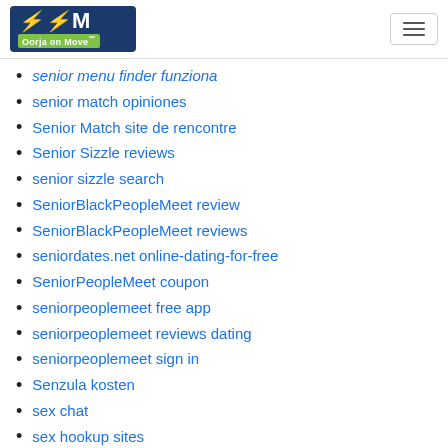Oorja on Move
senior menu finder funziona
senior match opiniones
Senior Match site de rencontre
Senior Sizzle reviews
senior sizzle search
SeniorBlackPeopleMeet review
SeniorBlackPeopleMeet reviews
seniordates.net online-dating-for-free
SeniorPeopleMeet coupon
seniorpeoplemeet free app
seniorpeoplemeet reviews dating
seniorpeoplemeet sign in
Senzula kosten
sex chat
sex hookup sites
sex match sign in